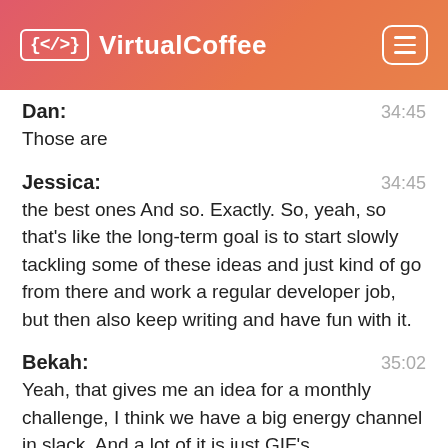{</>} VirtualCoffee
Dan: 34:45
Those are
Jessica: 34:45
the best ones And so. Exactly. So, yeah, so that's like the long-term goal is to start slowly tackling some of these ideas and just kind of go from there and work a regular developer job, but then also keep writing and have fun with it.
Bekah: 35:02
Yeah, that gives me an idea for a monthly challenge, I think we have a big energy channel in slack. And a lot of it is just GIF's,